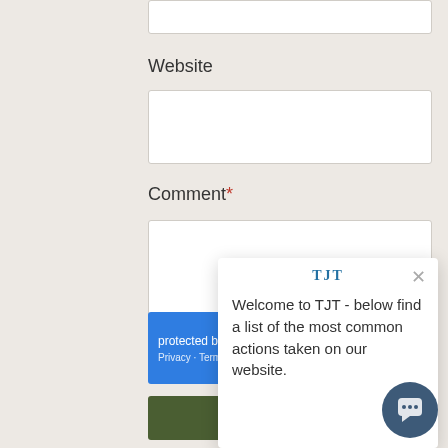Website
Comment*
[Figure (screenshot): Blue reCAPTCHA protected box with Privacy and Terms links]
[Figure (infographic): TJT popup card with close X button and text: Welcome to TJT - below find a list of the most common actions taken on our website.]
Submit Comment
[Figure (other): Dark blue circular chat bubble button with speech bubble icon]